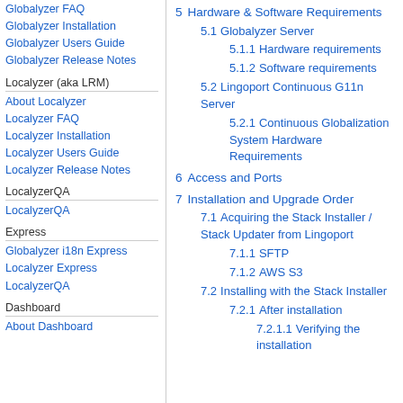Globalyzer FAQ
Globalyzer Installation
Globalyzer Users Guide
Globalyzer Release Notes
Localyzer (aka LRM)
About Localyzer
Localyzer FAQ
Localyzer Installation
Localyzer Users Guide
Localyzer Release Notes
LocalyzerQA
LocalyzerQA
Express
Globalyzer i18n Express
Localyzer Express
LocalyzerQA
Dashboard
About Dashboard
5  Hardware & Software Requirements
5.1  Globalyzer Server
5.1.1  Hardware requirements
5.1.2  Software requirements
5.2  Lingoport Continuous G11n Server
5.2.1  Continuous Globalization System Hardware Requirements
6  Access and Ports
7  Installation and Upgrade Order
7.1  Acquiring the Stack Installer / Stack Updater from Lingoport
7.1.1  SFTP
7.1.2  AWS S3
7.2  Installing with the Stack Installer
7.2.1  After installation
7.2.1.1  Verifying the installation